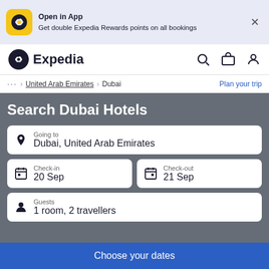[Figure (screenshot): Expedia app promotional banner with yellow app icon, text about double rewards points, and close button]
[Figure (logo): Expedia navigation bar with logo, search, bag, and account icons]
... > United Arab Emirates > Dubai  Plan your trip
Search Dubai Hotels
Going to
Dubai, United Arab Emirates
Check-in
20 Sep
Check-out
21 Sep
Guests
1 room, 2 travellers
Choose your dates